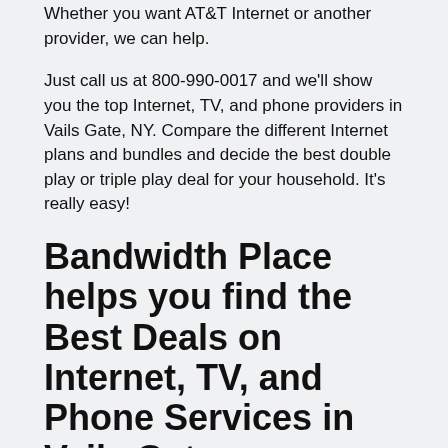Whether you want AT&T Internet or another provider, we can help.
Just call us at 800-990-0017 and we'll show you the top Internet, TV, and phone providers in Vails Gate, NY. Compare the different Internet plans and bundles and decide the best double play or triple play deal for your household. It's really easy!
Bandwidth Place helps you find the Best Deals on Internet, TV, and Phone Services in Vails Gate
Bandwidth Place wants to be your one-stop shop when it comes to Internet, Digital TV, and Phone. Searching for the best providers in Vails Gate with us is simple! We also